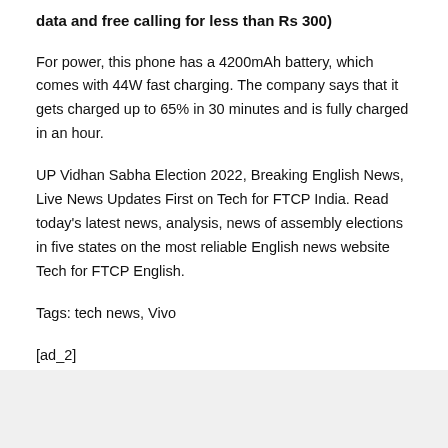data and free calling for less than Rs 300)
For power, this phone has a 4200mAh battery, which comes with 44W fast charging. The company says that it gets charged up to 65% in 30 minutes and is fully charged in an hour.
UP Vidhan Sabha Election 2022, Breaking English News, Live News Updates First on Tech for FTCP India. Read today's latest news, analysis, news of assembly elections in five states on the most reliable English news website Tech for FTCP English.
Tags: tech news, Vivo
[ad_2]